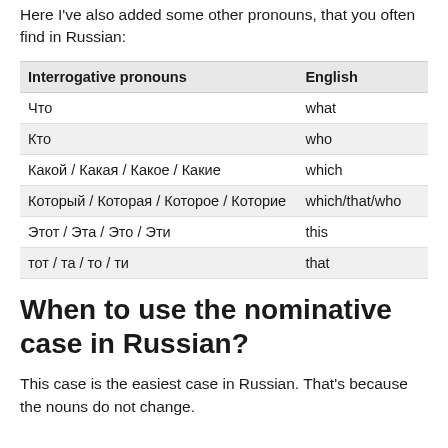Here I've also added some other pronouns, that you often find in Russian:
| Interrogative pronouns | English |
| --- | --- |
| Что | what |
| Кто | who |
| Какой / Какая / Какое / Какие | which |
| Который / Которая / Которое / Которие | which/that/who |
| Этот / Эта / Это / Эти | this |
| тот / та / то / ти | that |
When to use the nominative case in Russian?
This case is the easiest case in Russian. That's because the nouns do not change.